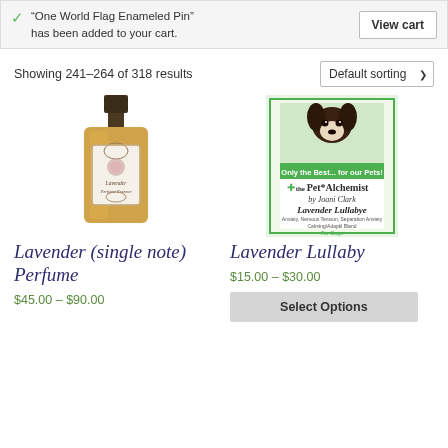"One World Flag Enameled Pin" has been added to your cart.
View cart
Showing 241–264 of 318 results
Default sorting
[Figure (photo): Amber glass perfume bottle with ornate label reading 'Lavender Perfume Essence']
[Figure (photo): Pet Alchemist Lavender Lullabye product label featuring a Chihuahua dog, by Joani Clark. Only the Best... for our Pets. For dogs.]
Lavender (single note) Perfume
$45.00 – $90.00
Lavender Lullaby
$15.00 – $30.00
Select Options